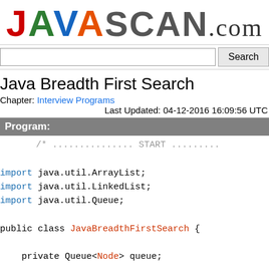[Figure (logo): JAVAscan.com logo with colored letters J(red), A(green), V(blue), A(orange), SCAN(gray), .com(cursive)]
Search bar with input and Search button
Java Breadth First Search
Chapter: Interview Programs
Last Updated: 04-12-2016 16:09:56 UTC
Program:
/* ............... START ..........
import java.util.ArrayList;
import java.util.LinkedList;
import java.util.Queue;

public class JavaBreadthFirstSearch {

    private Queue<Node> queue;